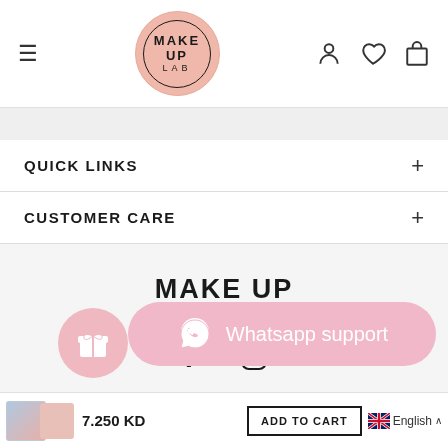[Figure (logo): Make Up Lab logo - pink circle with brand name]
QUICK LINKS
CUSTOMER CARE
[Figure (logo): MAKE UP LAB brand text logo in footer]
[Figure (infographic): Facebook and Instagram social media icons]
[Figure (infographic): Whatsapp support button (pink pill shape)]
7.250 KD
ADD TO CART
English